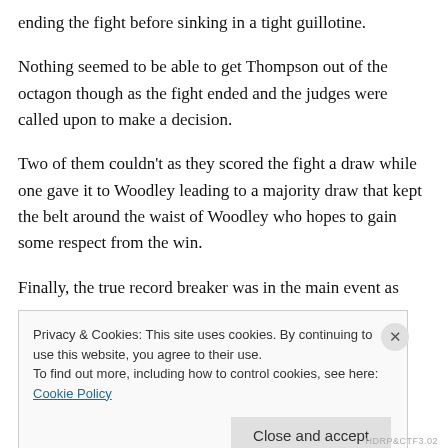ending the fight before sinking in a tight guillotine.
Nothing seemed to be able to get Thompson out of the octagon though as the fight ended and the judges were called upon to make a decision.
Two of them couldn't as they scored the fight a draw while one gave it to Woodley leading to a majority draw that kept the belt around the waist of Woodley who hopes to gain some respect from the win.
Finally, the true record breaker was in the main event as
Privacy & Cookies: This site uses cookies. By continuing to use this website, you agree to their use.
To find out more, including how to control cookies, see here: Cookie Policy
Close and accept